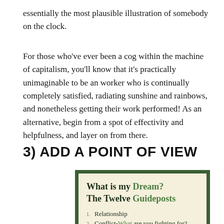essentially the most plausible illustration of somebody on the clock.
For those who’ve ever been a cog within the machine of capitalism, you’ll know that it’s practically unimaginable to be an worker who is continually completely satisfied, radiating sunshine and rainbows, and nonetheless getting their work performed! As an alternative, begin from a spot of effectivity and helpfulness, and layer on from there.
3) ADD A POINT OF VIEW
[Figure (illustration): A decorative card with a dark green border and cream/beige background showing the title 'What is my Dream? The Twelve Guideposts' with list items including '1. Relationship' and '2. Conflict-What are you fighting for?']